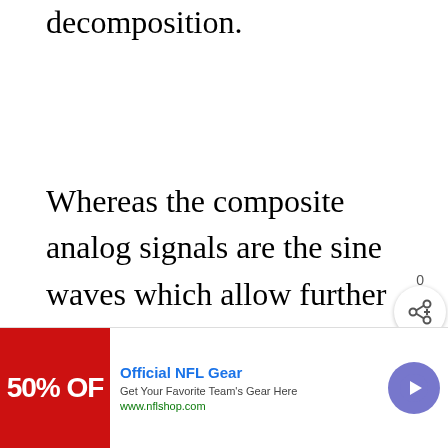decomposition.
Whereas the composite analog signals are the sine waves which allow further decomposition into numerous sine waves
The amplitudes, periods, or freque